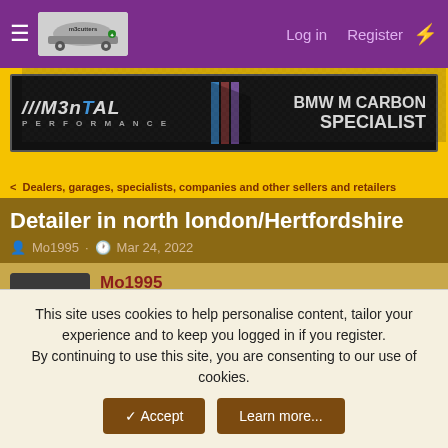M3cutters forum header with Log in, Register navigation
[Figure (illustration): M3ntal Performance BMW M Carbon Specialist advertisement banner, black background with carbon fiber texture, logo text and blue/red/purple stripes]
< Dealers, garages, specialists, companies and other sellers and retailers
Detailer in north london/Hertfordshire
Mo1995 · Mar 24, 2022
Mo1995
A mere Chipper
Feb 27, 2022  33
This site uses cookies to help personalise content, tailor your experience and to keep you logged in if you register.
By continuing to use this site, you are consenting to our use of cookies.